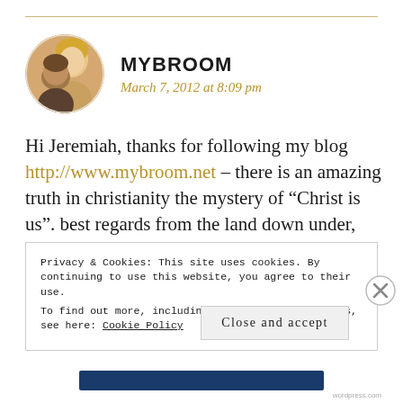MYBROOM
March 7, 2012 at 8:09 pm
Hi Jeremiah, thanks for following my blog http://www.mybroom.net – there is an amazing truth in christianity the mystery of “Christ is us”. best regards from the land down under, Graeme
Privacy & Cookies: This site uses cookies. By continuing to use this website, you agree to their use.
To find out more, including how to control cookies, see here: Cookie Policy
Close and accept